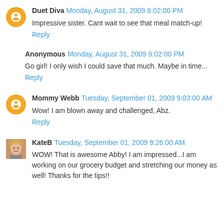Duet Diva Monday, August 31, 2009 8:02:00 PM
Impressive sister. Cant wait to see that meal match-up!
Reply
Anonymous Monday, August 31, 2009 9:02:00 PM
Go girl! I only wish I could save that much. Maybe in time...
Reply
Mommy Webb Tuesday, September 01, 2009 9:03:00 AM
Wow! I am blown away and challenged, Abz.
Reply
KateB Tuesday, September 01, 2009 9:26:00 AM
WOW! That is awesome Abby! I am impressed...I am working on our grocery budget and stretching our money as well! Thanks for the tips!!